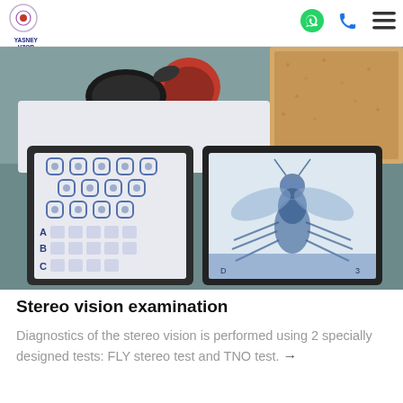YASNEY VZOR
[Figure (photo): Photo of stereo vision test materials on a table: two open booklets showing test cards — the left booklet displays the TNO stereo dot pattern test with rows of symbols (A, B, C rows) and the right booklet shows the FLY stereo test with a large blue fly illustration. Above the booklets are an eye occluder/patch in black and red, glasses, and a cork board with patterns.]
Stereo vision examination
Diagnostics of the stereo vision is performed using 2 specially designed tests: FLY stereo test and TNO test. →